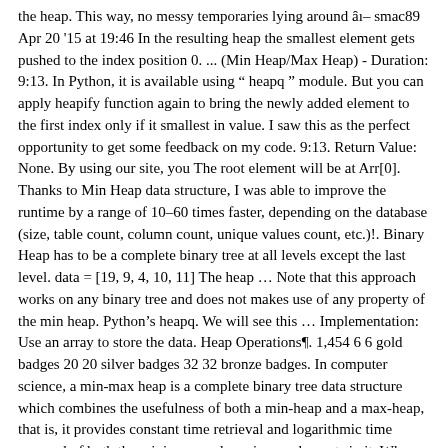the heap. This way, no messy temporaries lying around â smac89 Apr 20 '15 at 19:46 In the resulting heap the smallest element gets pushed to the index position 0. ... (Min Heap/Max Heap) - Duration: 9:13. In Python, it is available using “ heapq ” module. But you can apply heapify function again to bring the newly added element to the first index only if it smallest in value. I saw this as the perfect opportunity to get some feedback on my code. 9:13. Return Value: None. By using our site, you The root element will be at Arr[0]. Thanks to Min Heap data structure, I was able to improve the runtime by a range of 10–60 times faster, depending on the database (size, table count, column count, unique values count, etc.)!. Binary Heap has to be a complete binary tree at all levels except the last level. data = [19, 9, 4, 10, 11] The heap … Note that this approach works on any binary tree and does not makes use of any property of the min heap. Python’s heapq. We will see this … Implementation: Use an array to store the data. Heap Operations¶. 1,454 6 6 gold badges 20 20 silver badges 32 32 bronze badges. In computer science, a min-max heap is a complete binary tree data structure which combines the usefulness of both a min-heap and a max-heap, that is, it provides constant time retrieval and logarithmic time removal of both the minimum and maximum elements in it. When the above code is executed, it produces the following result −. The Python example constructs a min heap using heapq.heapify() and removes the smallest element twice. Python 3 implementation of binary heap. """. Creating a